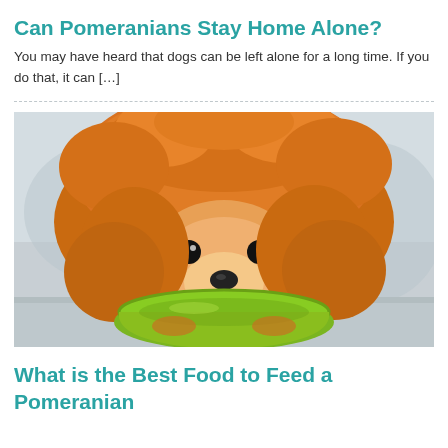Can Pomeranians Stay Home Alone?
You may have heard that dogs can be left alone for a long time. If you do that, it can […]
[Figure (photo): A fluffy orange Pomeranian dog eating from a green bowl on a light floor, close-up shot with blurred background.]
What is the Best Food to Feed a Pomeranian